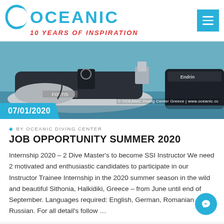[Figure (logo): Oceanic Diving Center logo with wave icon and text '10 YEARS OF INSPIRATION' in red italic, menu hamburger button in teal]
[Figure (photo): Photo of inflatable dive boat (RIB) with 'Fortis' branding, moored at dock with another boat labeled 'Endrin' visible. Copyright: OCEANIC Diving Center Greece | www.oceanic.cc]
07/01/2020
BY OCEANIC DIVING CENTER
JOB OPPORTUNITY SUMMER 2020
Internship 2020 – 2 Dive Master's to become SSI Instructor We need 2 motivated and enthusiastic candidates to participate in our Instructor Trainee Internship in the 2020 summer season in the wild and beautiful Sithonia, Halkidiki, Greece – from June until end of September. Languages required: English, German, Romanian or Russian. For all detail's follow …